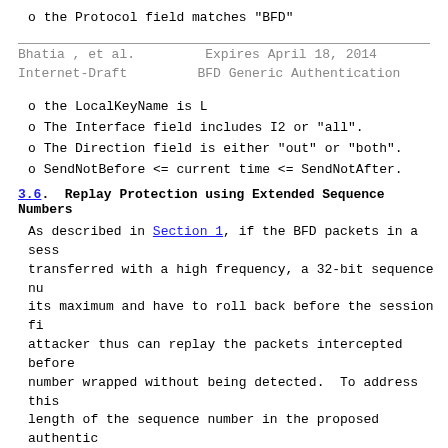o  the Protocol field matches "BFD"
Bhatia , et al.          Expires April 18, 2014
Internet-Draft           BFD Generic Authentication
o  the LocalKeyName is L
o  The Interface field includes I2 or "all".
o  The Direction field is either "out" or "both".
o  SendNotBefore <= current time <= SendNotAfter.
3.6.  Replay Protection using Extended Sequence Numbers
As described in Section 1, if the BFD packets in a sess transferred with a high frequency, a 32-bit sequence nu its maximum and have to roll back before the session fi attacker thus can replay the packets intercepted before number wrapped without being detected.  To address this length of the sequence number in the proposed authentic has been extended to 64 bits.  After the extension, the number space of a device will not be exhausted within h milli...